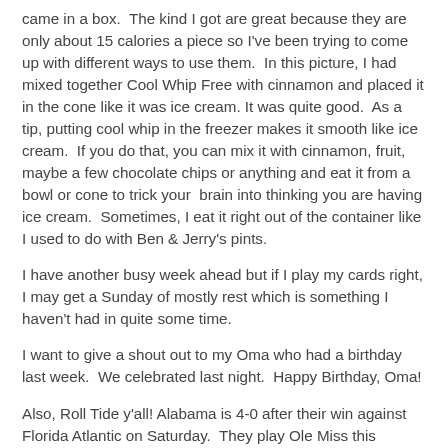came in a box.  The kind I got are great because they are only about 15 calories a piece so I've been trying to come up with different ways to use them.  In this picture, I had mixed together Cool Whip Free with cinnamon and placed it in the cone like it was ice cream. It was quite good.  As a tip, putting cool whip in the freezer makes it smooth like ice cream.  If you do that, you can mix it with cinnamon, fruit, maybe a few chocolate chips or anything and eat it from a bowl or cone to trick your  brain into thinking you are having ice cream.  Sometimes, I eat it right out of the container like I used to do with Ben & Jerry's pints.
I have another busy week ahead but if I play my cards right, I may get a Sunday of mostly rest which is something I haven't had in quite some time.
I want to give a shout out to my Oma who had a birthday last week.  We celebrated last night.  Happy Birthday, Oma!
Also, Roll Tide y'all! Alabama is 4-0 after their win against Florida Atlantic on Saturday.  They play Ole Miss this Saturday and hopefully that will kick off some more